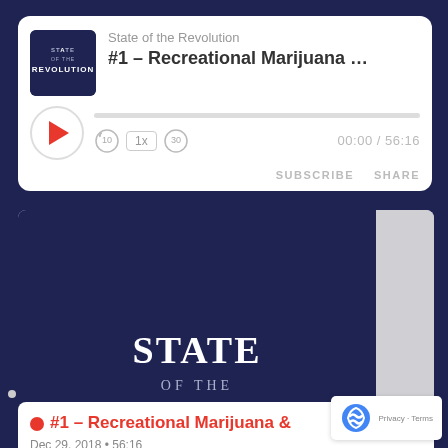[Figure (screenshot): Podcast player UI showing 'State of the Revolution' podcast with episode '#1 - Recreational Marijuana & Prop', play controls, progress bar showing 00:00 / 56:16, SUBSCRIBE and SHARE buttons]
[Figure (logo): State of the Revolution podcast artwork - dark navy background with white text logo]
#1 – Recreational Marijuana &
Dec 29, 2018 • 56:16
On this State of the Revolution, Liano Sharon and guest …
[Figure (logo): reCAPTCHA badge with Privacy and Terms links]